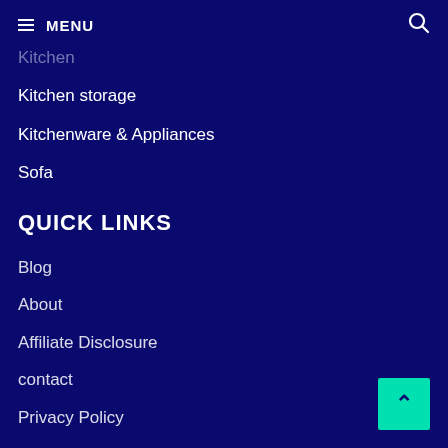MENU
Kitchen
Kitchen storage
Kitchenware & Appliances
Sofa
QUICK LINKS
Blog
About
Affiliate Disclosure
contact
Privacy Policy
Terms Of Services